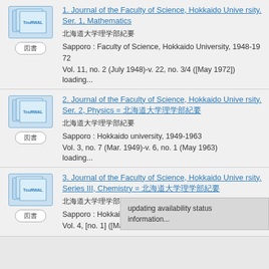1. Journal of the Faculty of Science, Hokkaido University. Ser. 1, Mathematics
北海道大学理学部紀要
Sapporo : Faculty of Science, Hokkaido University, 1948-1972
Vol. 11, no. 2 (July 1948)-v. 22, no. 3/4 ([May 1972])
loading...
2. Journal of the Faculty of Science, Hokkaido University. Ser. 2, Physics = 北海道大学理学部紀要
北海道大学理学部紀要
Sapporo : Hokkaido university, 1949-1963
Vol. 3, no. 7 (Mar. 1949)-v. 6, no. 1 (May 1963)
loading...
3. Journal of the Faculty of Science, Hokkaido University. Series III, Chemistry = 北海道大学理学部紀要
北海道大学理学部紀要
Sapporo : Hokkaido Univ...
Vol. 4, [no. 1] ([Mar. 1950])-v. 5, no. 1 (Mar. 1957)
updating availability status information...